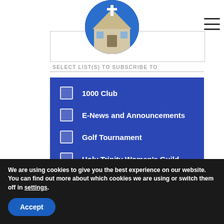[Figure (illustration): Church logo circle with cross and building roof on blue background]
SELECT LIST(S) TO SUBSCRIBE TO
1000 Club
E-News and Announcements
Golf Tournament
Holy Trinity Women's Guild
Sunday School Teachers and Staff
Trinity Men's Union
We are using cookies to give you the best experience on our website.
You can find out more about which cookies we are using or switch them off in settings.
Accept